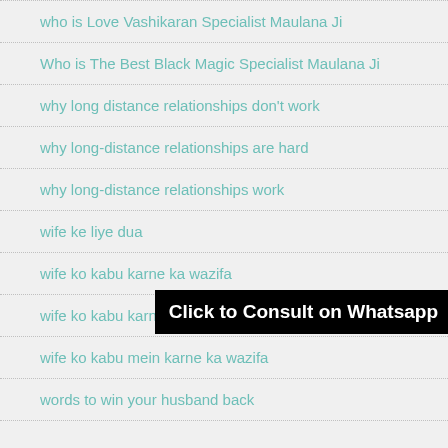who is Love Vashikaran Specialist Maulana Ji
Who is The Best Black Magic Specialist Maulana Ji
why long distance relationships don't work
why long-distance relationships are hard
why long-distance relationships work
wife ke liye dua
wife ko kabu karne ka wazifa
wife ko kabu karne ki powerful dua
wife ko kabu mein karne ka wazifa
words to win your husband back